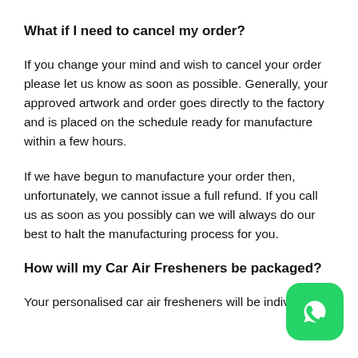What if I need to cancel my order?
If you change your mind and wish to cancel your order please let us know as soon as possible. Generally, your approved artwork and order goes directly to the factory and is placed on the schedule ready for manufacture within a few hours.
If we have begun to manufacture your order then, unfortunately, we cannot issue a full refund. If you call us as soon as you possibly can we will always do our best to halt the manufacturing process for you.
How will my Car Air Fresheners be packaged?
Your personalised car air fresheners will be individually
[Figure (logo): WhatsApp icon button — green rounded square with white phone handset icon]